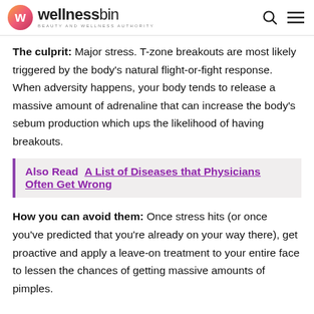wellnessbin BEAUTY AND WELLNESS AUTHORITY
The culprit: Major stress. T-zone breakouts are most likely triggered by the body's natural flight-or-fight response. When adversity happens, your body tends to release a massive amount of adrenaline that can increase the body's sebum production which ups the likelihood of having breakouts.
Also Read   A List of Diseases that Physicians Often Get Wrong
How you can avoid them: Once stress hits (or once you've predicted that you're already on your way there), get proactive and apply a leave-on treatment to your entire face to lessen the chances of getting massive amounts of pimples.